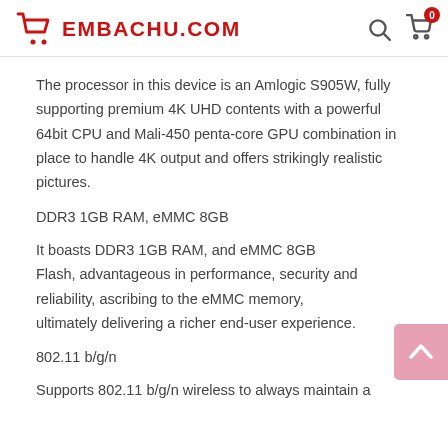EMBACHU.COM
The processor in this device is an Amlogic S905W, fully supporting premium 4K UHD contents with a powerful 64bit CPU and Mali-450 penta-core GPU combination in place to handle 4K output and offers strikingly realistic pictures.
DDR3 1GB RAM, eMMC 8GB
It boasts DDR3 1GB RAM, and eMMC 8GB Flash, advantageous in performance, security and reliability, ascribing to the eMMC memory, ultimately delivering a richer end-user experience.
802.11 b/g/n
Supports 802.11 b/g/n wireless to always maintain...